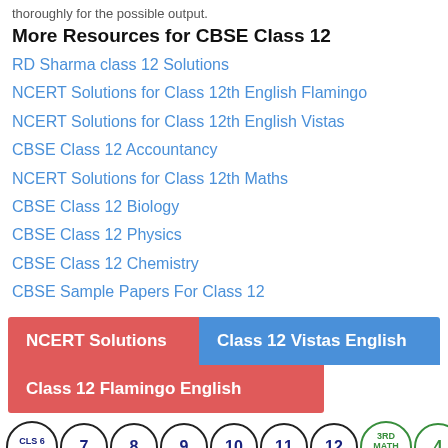thoroughly for the possible output.
More Resources for CBSE Class 12
RD Sharma class 12 Solutions
NCERT Solutions for Class 12th English Flamingo
NCERT Solutions for Class 12th English Vistas
CBSE Class 12 Accountancy
NCERT Solutions for Class 12th Maths
CBSE Class 12 Biology
CBSE Class 12 Physics
CBSE Class 12 Chemistry
CBSE Sample Papers For Class 12
[Figure (infographic): Two-row button group: red button 'NCERT Solutions', blue button 'Class 12 Vistas English', red button 'Class 12 Flamingo English']
[Figure (infographic): Row of circular navigation buttons: CLS 6 SOLU, 7, 8, 9, 10, 11, 12, 3RD MATH QUIZ, 4; second row: 5, 6, 7, 8, 9 in green]